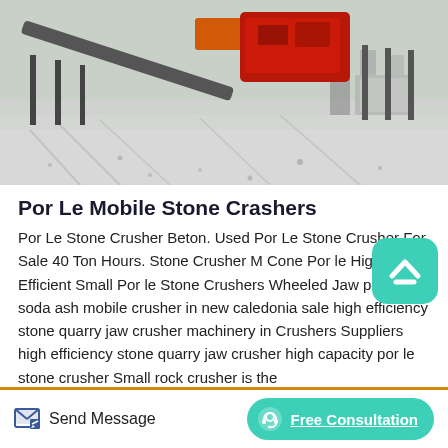[Figure (photo): Outdoor photo of a mobile stone crusher/mining machine on a snow and gravel-covered ground, with red and orange machinery components and metal support legs visible.]
Por Le Mobile Stone Crashers
Por Le Stone Crusher Beton. Used Por Le Stone Crusher For Sale 40 Ton Hours. Stone Crusher M Cone Por le High Efficient Small Por le Stone Crushers Wheeled Jaw portable soda ash mobile crusher in new caledonia sale high efficiency stone quarry jaw crusher machinery in Crushers Suppliers high efficiency stone quarry jaw crusher high capacity por le stone crusher Small rock crusher is the
Send Message   Free Consultation